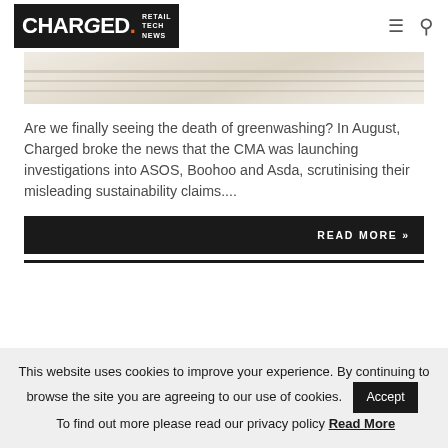CHARGED. RETAIL TECH NEWS
[Figure (photo): Close-up photo of cream/beige knitted fabric or garment]
Are we finally seeing the death of greenwashing? In August, Charged broke the news that the CMA was launching investigations into ASOS, Boohoo and Asda, scrutinising their misleading sustainability claims....
READ MORE »
This website uses cookies to improve your experience. By continuing to browse the site you are agreeing to our use of cookies. Accept To find out more please read our privacy policy Read More